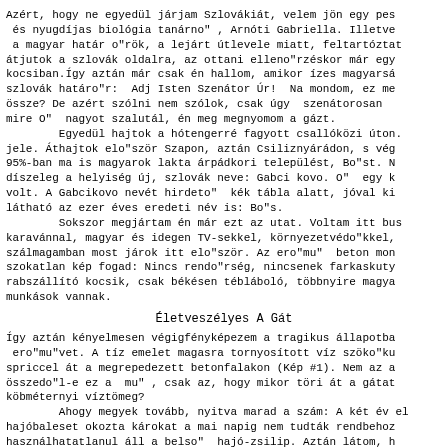Azért, hogy ne egyedül járjam Szlovákiát, velem jön egy pes és nyugdíjas biológia tanárno" , Arnóti Gabriella. Illetve a magyar határ o"rök, a lejárt útlevele miatt, feltartóztat átjutok a szlovák oldalra, az ottani elleno"rzéskor már egy kocsiban.Így aztán már csak én hallom, amikor ízes magyarsá szlovák határo"r:  Adj Isten Szenátor Úr!  Na mondom, ez me össze? De azért szólni nem szólok, csak úgy  szenátorosan mire O"  nagyot szalutál, én meg megnyomom a gázt.
        Egyedül hajtok a hótengerré fagyott csallóközi úton. jele. Áthajtok elo"ször Szapon, aztán Csiliznyárádon, s vég 95%-ban ma is magyarok lakta árpádkori települést, Bo"st. N díszeleg a helyiség új, szlovák neve: Gabci kovo. O"  egy k volt. A Gabcikovo nevét hirdeto"  kék tábla alatt, jóval ki látható az ezer éves eredeti név is: Bo"s.
        Sokszor megjártam én már ezt az utat. Voltam itt bus karavánnal, magyar és idegen TV-sekkel, környezetvédo"kkel, szálmagamban most járok itt elo"ször. Az ero"mu"  beton mon szokatlan kép fogad: Nincs rendo"rség, nincsenek farkaskuty rabszállító kocsik, csak békésen tébláboló, többnyire magya munkások vannak.
Életveszélyes A Gát
Így aztán kényelmesen végigfényképezem a tragikus állapotba ero"mu"vet. A tíz emelet magasra tornyosított víz szöko"ku spriccel át a megrepedezett betonfalakon (Kép #1). Nem az a összedo"l-e ez a  mu" , csak az, hogy mikor töri át a gátat köbméternyi víztömeg?
        Ahogy megyek tovább, nyitva marad a szám: A két év el hajóbaleset okozta károkat a mai napig nem tudták rendbehoz használhatatlanul áll a belso"  hajó-zsilip. Aztán látom, h tárgyusodik a bo"léo" nailinkanyban, nem mu"llo"dik az sem (K